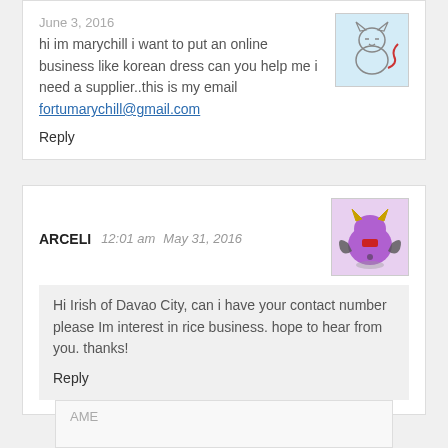hi im marychill i want to put an online business like korean dress can you help me i need a supplier..this is my email fortumarychill@gmail.com
Reply
ARCELI   12:01 am   May 31, 2016
Hi Irish of Davao City, can i have your contact number please Im interest in rice business. hope to hear from you. thanks!
Reply